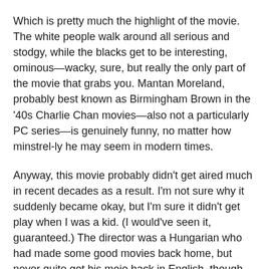Which is pretty much the highlight of the movie. The white people walk around all serious and stodgy, while the blacks get to be interesting, ominous—wacky, sure, but really the only part of the movie that grabs you. Mantan Moreland, probably best known as Birmingham Brown in the '40s Charlie Chan movies—also not a particularly PC series—is genuinely funny, no matter how minstrel-ly he may seem in modern times.
Anyway, this movie probably didn't get aired much in recent decades as a result. I'm not sure why it suddenly became okay, but I'm sure it didn't get play when I was a kid. (I would've seen it, guaranteed.) The director was a Hungarian who had made some good movies back home, but never quite got his mojo back in English, though he did ultimately direct the sci-fi icon Day of the Triffids.
This isn't a movie you really recommend. You know from this description whether or not you want to see it, I'm sure. Semi-comically, I pulled this off the MGM "high definition" channel. The HD channels are kind of a joke. They charge you